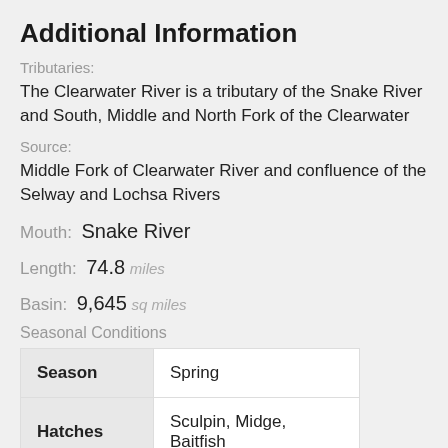Additional Information
Tributaries:
The Clearwater River is a tributary of the Snake River and South, Middle and North Fork of the Clearwater
Source:
Middle Fork of Clearwater River and confluence of the Selway and Lochsa Rivers
Mouth:  Snake River
Length:  74.8 miles
Basin:  9,645 sq miles
Seasonal Conditions
| Season | Hatches |
| --- | --- |
| Spring |  |
| Sculpin, Midge, Baitfish |  |